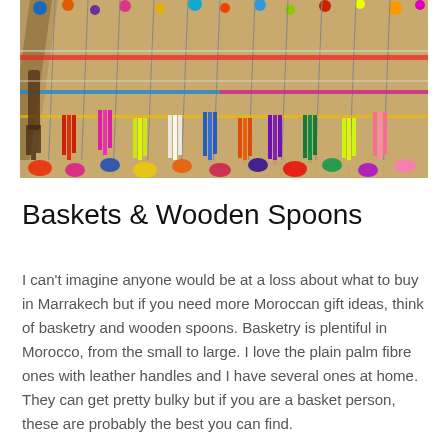[Figure (photo): Colorful Moroccan embroidered clutch bags/purses displayed in rows, featuring various colored tassels, pom-poms, and decorative trims in bright colors including red, blue, yellow, pink, orange, and green on beige/tan fabric]
Baskets & Wooden Spoons
I can't imagine anyone would be at a loss about what to buy in Marrakech but if you need more Moroccan gift ideas, think of basketry and wooden spoons. Basketry is plentiful in Morocco, from the small to large. I love the plain palm fibre ones with leather handles and I have several ones at home. They can get pretty bulky but if you are a basket person, these are probably the best you can find.